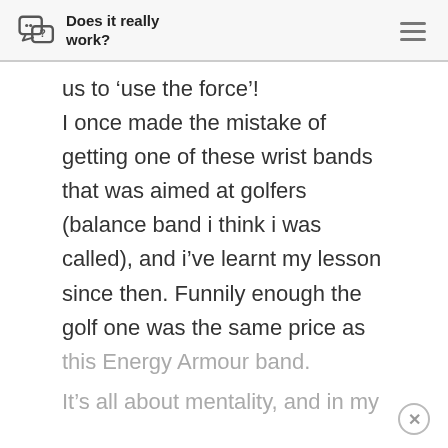Does it really work?
us to ‘use the force’! I once made the mistake of getting one of these wrist bands that was aimed at golfers (balance band i think i was called), and i’ve learnt my lesson since then. Funnily enough the golf one was the same price as this Energy Armour band. It’s all about mentality, and in my